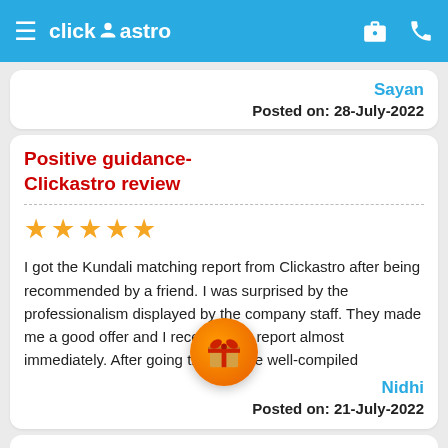click astro
Sayan
Posted on: 28-July-2022
Positive guidance- Clickastro review
★★★★★
I got the Kundali matching report from Clickastro after being recommended by a friend. I was surprised by the professionalism displayed by the company staff. They made me a good offer and I received the report almost immediately. After going through the well-compiled
Nidhi
Posted on: 21-July-2022
Good report